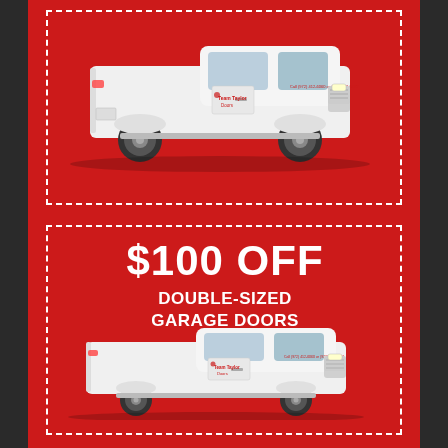[Figure (illustration): White pickup truck with Team Taylor Doors branding on a red background, top coupon section]
[Figure (infographic): Coupon offering $100 OFF Double-Sized Garage Doors with a white pickup truck below the text, all on a red background with dashed white border]
$100 OFF
DOUBLE-SIZED GARAGE DOORS
[Figure (illustration): White pickup truck with Team Taylor Doors branding, bottom of coupon]